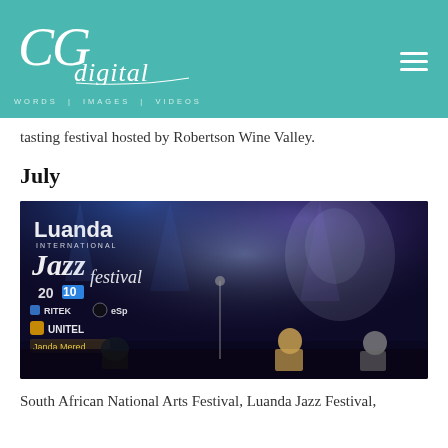CG digital — WORDS | IMAGES | VIDEOS
tasting festival hosted by Robertson Wine Valley.
July
[Figure (photo): Concert photo from Luanda International Jazz Festival 2010 with band performing on stage, sponsors Ritek, eSp, Unitel visible on backdrop, and a stylized face silhouette in background lighting.]
South African National Arts Festival, Luanda Jazz Festival,